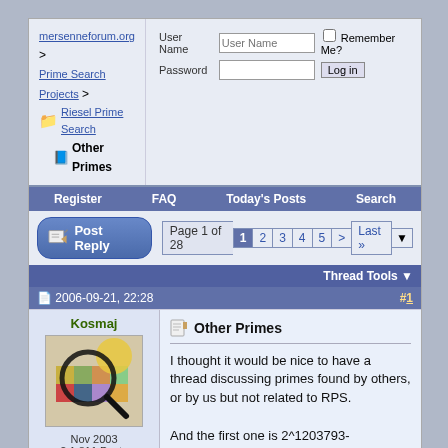mersenneforum.org > Prime Search Projects > Riesel Prime Search > Other Primes | User Name / Password / Remember Me? / Log in
Register  FAQ  Today's Posts  Search
Post Reply | Page 1 of 28  1 2 3 4 5 > Last »
Thread Tools
2006-09-21, 22:28  #1
Kosmaj
[Figure (illustration): User avatar: abstract colorful painting with geometric shapes and magnifying glass]
Nov 2003
2·1,811 Posts
Other Primes
I thought it would be nice to have a thread discussing primes found by others, or by us but not related to RPS.

And the first one is 2^1203793-2^601897+1 (362378 digits)

new Gaussian Mersenne norm record set by Cruelty. More details can be found here

Congratulations!

The form can be searched using the latest